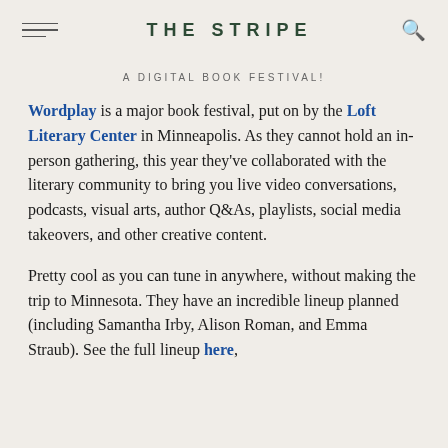THE STRIPE
A DIGITAL BOOK FESTIVAL!
Wordplay is a major book festival, put on by the Loft Literary Center in Minneapolis. As they cannot hold an in-person gathering, this year they've collaborated with the literary community to bring you live video conversations, podcasts, visual arts, author Q&As, playlists, social media takeovers, and other creative content.
Pretty cool as you can tune in anywhere, without making the trip to Minnesota. They have an incredible lineup planned (including Samantha Irby, Alison Roman, and Emma Straub). See the full lineup here,